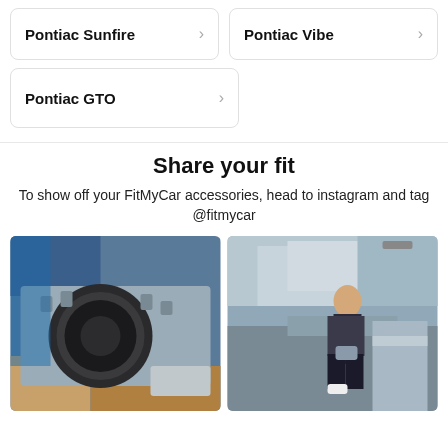Pontiac Sunfire
Pontiac Vibe
Pontiac GTO
Share your fit
To show off your FitMyCar accessories, head to instagram and tag @fitmycar
[Figure (photo): Close-up photo of a car engine block component, metallic silver, on a pallet with blue and yellow elements in the background]
[Figure (photo): A man in a black jacket leaning against a silver car on a suburban street, looking at his phone, with a tree and house in the background]